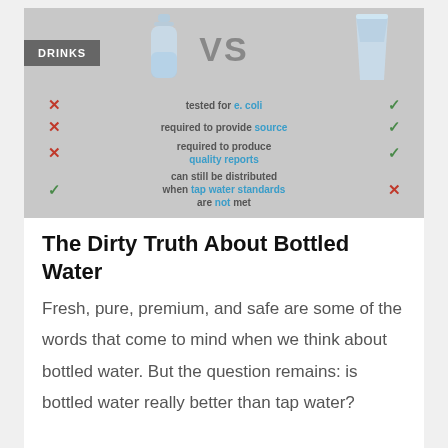[Figure (infographic): Comparison infographic: Bottled water (bottle icon) vs Tap water (glass icon). Four comparison rows: (1) tested for e. coli — bottled: X, tap: check; (2) required to provide source — bottled: X, tap: check; (3) required to produce quality reports — bottled: X, tap: check; (4) can still be distributed when tap water standards are not met — bottled: check, tap: X. 'DRINKS' label in dark grey box top-left. 'VS' in large grey text center-top.]
The Dirty Truth About Bottled Water
Fresh, pure, premium, and safe are some of the words that come to mind when we think about bottled water. But the question remains: is bottled water really better than tap water?